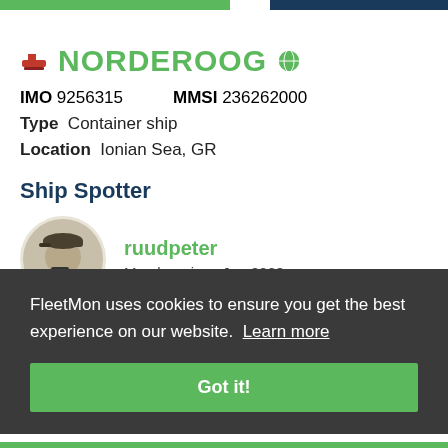NORDEROOG — FleetMon ship tracking page
NORDEROOG
IMO 9256315    MMSI 236262000
Type Container ship
Location Ionian Sea, GR
Ship Spotter
[Figure (photo): Circular avatar photo of ship spotter ruudpeter, showing a person wearing a cap holding a camera, in black and white/sepia tone]
ruudpeter
Member since Jun 2008
FleetMon uses cookies to ensure you get the best experience on our website. Learn more
Got it!